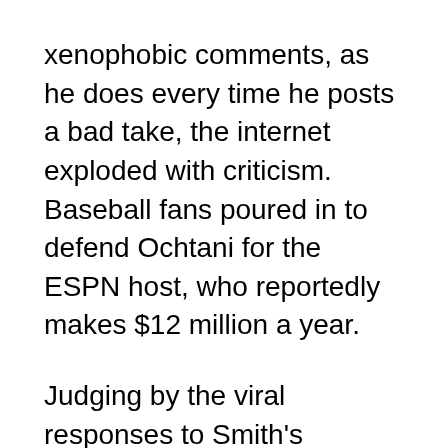xenophobic comments, as he does every time he posts a bad take, the internet exploded with criticism. Baseball fans poured in to defend Ochtani for the ESPN host, who reportedly makes $12 million a year.
Judging by the viral responses to Smith’s statement, it seems baseball fans love Ohtani and his unique skills. Who would have thought it?
I supported @stephenasmith when he was important in @espn and when he wasn’t, and when he was right and when he was wrong.